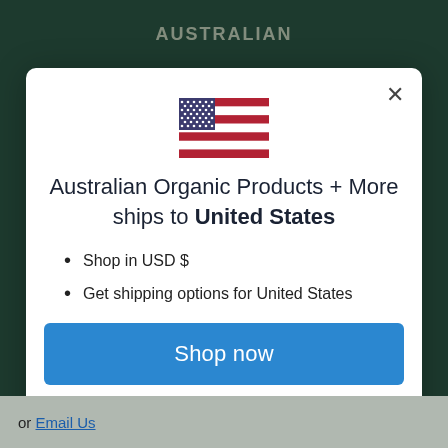AUSTRALIAN
[Figure (illustration): US flag emoji displayed in center of modal]
Australian Organic Products + More ships to United States
Shop in USD $
Get shipping options for United States
Shop now
Change shipping country
or Email Us